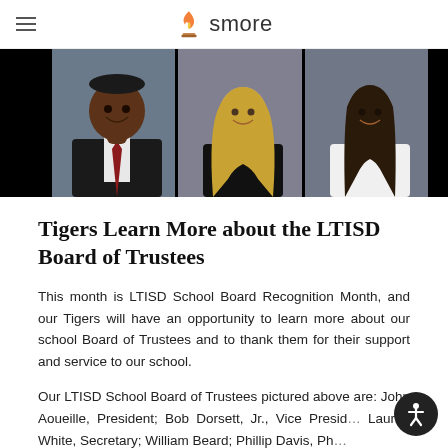smore
[Figure (photo): Three professional headshot photos of LTISD School Board of Trustees members against dark background: an African American man in suit with red tie (left), a blonde woman in black top (center), and a brunette woman in white sleeveless top (right).]
Tigers Learn More about the LTISD Board of Trustees
This month is LTISD School Board Recognition Month, and our Tigers will have an opportunity to learn more about our school Board of Trustees and to thank them for their support and service to our school.
Our LTISD School Board of Trustees pictured above are: John Aoueille, President; Bob Dorsett, Jr., Vice President; Lauren White, Secretary; William Beard; Phillip Davis, Ph...